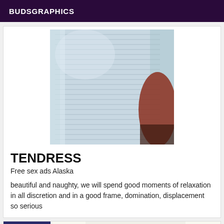BUDSGRAPHICS
[Figure (photo): Close-up photo of a person wearing a tight light blue/grey striped dress, with a reddish background element visible]
TENDRESS
Free sex ads Alaska
beautiful and naughty, we will spend good moments of relaxation in all discretion and in a good frame, domination, displacement so serious
[Figure (photo): Partial view of second listing card showing an Online badge and a triangular logo/image]